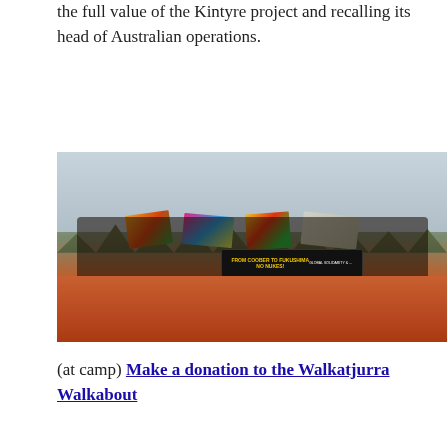the full value of the Kintyre project and recalling its head of Australian operations.
[Figure (photo): Group of protesters and activists standing on red dirt ground in outback Australia, holding colourful flags and banners. A prominent black banner reads 'NO NUKES!' with text 'From Coober to Fukushima'. Trees and overcast sky in background.]
(at camp) Make a donation to the Walkatjurra Walkabout